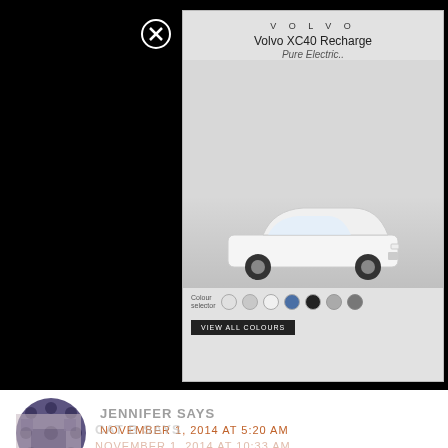[Figure (screenshot): Volvo XC40 Recharge Pure Electric advertisement with colour selector dots and CTA button, overlaid on black background with close button]
JENNIFER SAYS
NOVEMBER 1, 2014 AT 5:20 AM
So cute! Love the polka dots!
Reply
CAT B SAYS
NOVEMBER 1, 2014 AT 10:33 AM